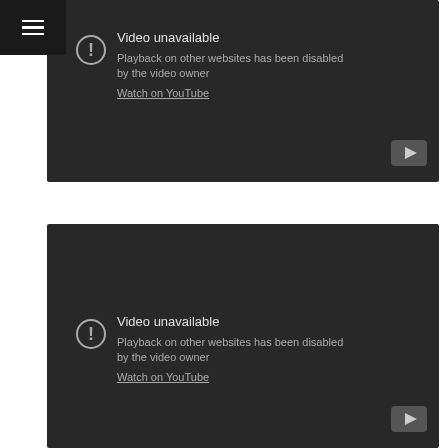[Figure (screenshot): YouTube embed showing 'Video unavailable' message with text 'Playback on other websites has been disabled by the video owner' and a 'Watch on YouTube' link. Dark background with hamburger menu icon top-left. YouTube play button bottom-right.]
[Figure (screenshot): Second YouTube embed showing 'Video unavailable' message with text 'Playback on other websites has been disabled by the video owner' and a 'Watch on YouTube' link. Dark background. YouTube play button bottom-right.]